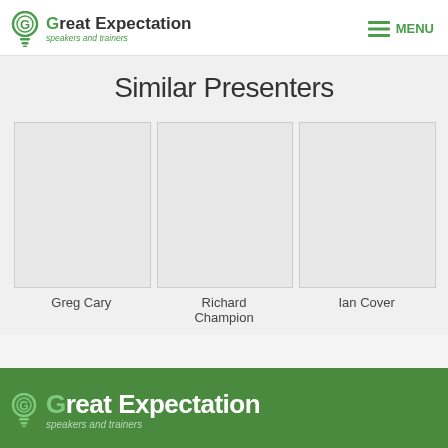Great Expectation speakers and trainers | MENU
Similar Presenters
[Figure (photo): Blank placeholder image for Greg Cary presenter]
Greg Cary
[Figure (photo): Blank placeholder image for Richard Champion presenter]
Richard Champion
[Figure (photo): Blank placeholder image for Ian Cover presenter]
Ian Cover
Great Expectation speakers and trainers